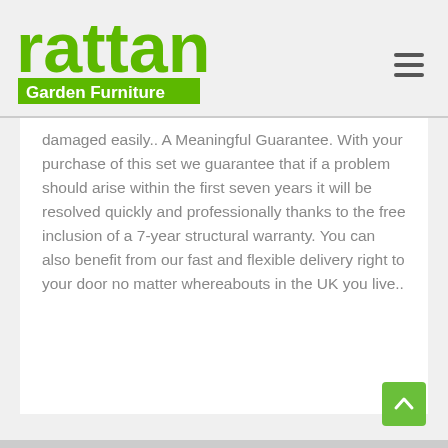[Figure (logo): Rattan Garden Furniture logo — large green 'rattan' text above a green rectangle with white 'Garden Furniture' text]
damaged easily.. A Meaningful Guarantee. With your purchase of this set we guarantee that if a problem should arise within the first seven years it will be resolved quickly and professionally thanks to the free inclusion of a 7-year structural warranty. You can also benefit from our fast and flexible delivery right to your door no matter whereabouts in the UK you live..